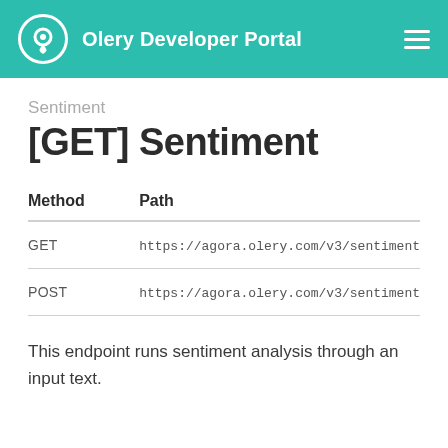Olery Developer Portal
Sentiment
[GET] Sentiment
| Method | Path |
| --- | --- |
| GET | https://agora.olery.com/v3/sentiment |
| POST | https://agora.olery.com/v3/sentiment |
This endpoint runs sentiment analysis through an input text.